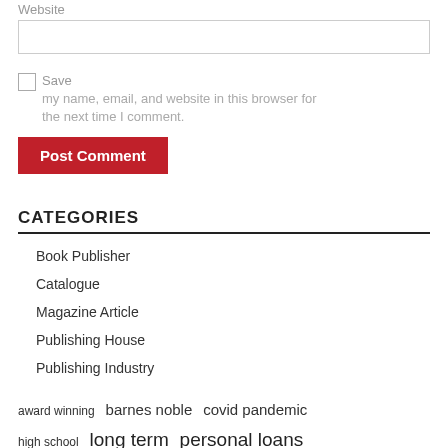Website
Save my name, email, and website in this browser for the next time I comment.
Post Comment
CATEGORIES
Book Publisher
Catalogue
Magazine Article
Publishing House
Publishing Industry
award winning  barnes noble  covid pandemic  high school  long term  personal loans  press release  publishing house